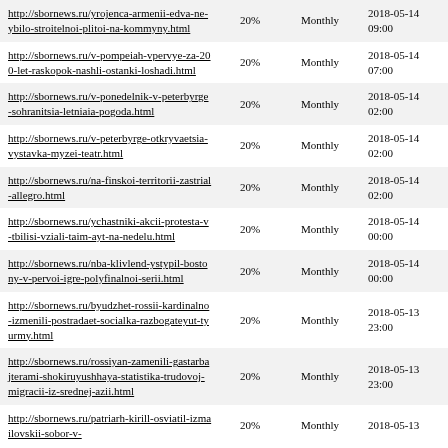| http://sbornews.ru/yrojenca-armenii-edva-ne-ybilo-stroitelnoi-plitoi-na-kommyny.html | 20% | Monthly | 2018-05-14 09:00 |
| http://sbornews.ru/v-pompeiah-vpervye-za-200-let-raskopok-nashli-ostanki-loshadi.html | 20% | Monthly | 2018-05-14 07:00 |
| http://sbornews.ru/v-ponedelnik-v-peterbyrge-sohranitsia-letniaia-pogoda.html | 20% | Monthly | 2018-05-14 02:00 |
| http://sbornews.ru/v-peterbyrge-otkryvaetsia-vystavka-myzei-teatr.html | 20% | Monthly | 2018-05-14 02:00 |
| http://sbornews.ru/na-finskoi-territorii-zastrial-allegro.html | 20% | Monthly | 2018-05-14 02:00 |
| http://sbornews.ru/ychastniki-akcii-protesta-v-tbilisi-vziali-taim-ayt-na-nedelu.html | 20% | Monthly | 2018-05-14 00:00 |
| http://sbornews.ru/nba-klivlend-ystypil-bostony-v-pervoi-igre-polyfinalnoi-serii.html | 20% | Monthly | 2018-05-14 00:00 |
| http://sbornews.ru/byudzhet-rossii-kardinalno-izmenili-postradaet-socialka-razbogateyut-tyurmy.html | 20% | Monthly | 2018-05-13 23:00 |
| http://sbornews.ru/rossiyan-zamenili-gastarbajterami-shokiruyushhaya-statistika-trudovoj-migracii-iz-srednej-azii.html | 20% | Monthly | 2018-05-13 23:00 |
| http://sbornews.ru/patriarh-kirill-osviatil-izmailovskii-sobor-v-... | 20% | Monthly | 2018-05-13 |